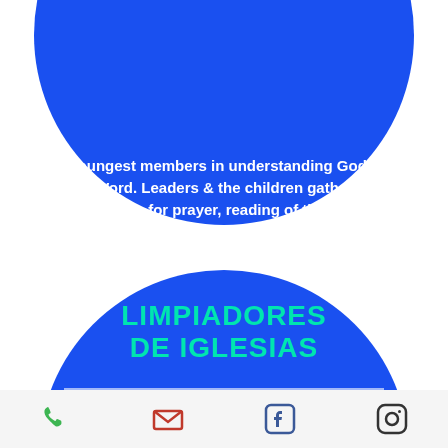[Figure (illustration): Blue circle (partially cut off at top) containing bold white text about church children's ministry]
youngest members in understanding God's Word. Leaders & the children gather downstairs for prayer, reading of the Sunday Scriptures & an activity. They rejoin the Assembly for the Liturgy of the Eucharist. This ministry is open to all parishioners.
[Figure (illustration): Blue circle (partially cut off at bottom) with title LIMPIADORES DE IGLESIAS in teal/green, a white divider line, and bold white text about parishioners cleaning the church]
LIMPIADORES DE IGLESIAS
Parishioners clean our church every other week and they care for the plants in our environment. Interested
Phone | Email | Facebook | Instagram